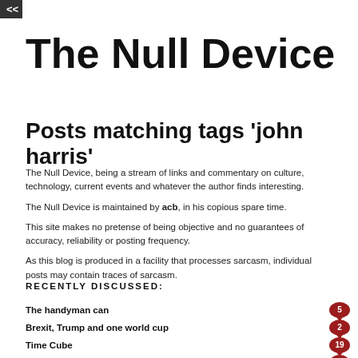<<
The Null Device
Posts matching tags 'john harris'
The Null Device, being a stream of links and commentary on culture, technology, current events and whatever the author finds interesting.
The Null Device is maintained by acb, in his copious spare time.
This site makes no pretense of being objective and no guarantees of accuracy, reliability or posting frequency.
As this blog is produced in a facility that processes sarcasm, individual posts may contain traces of sarcasm.
RECENTLY DISCUSSED:
The handyman can
Brexit, Trump and one world cup
Time Cube
Punk masonry
The People's Prince